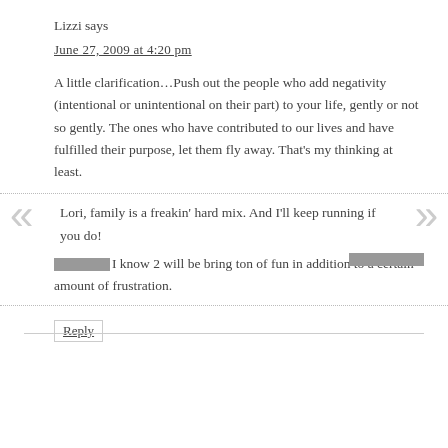Lizzi says
June 27, 2009 at 4:20 pm
A little clarification…Push out the people who add negativity (intentional or unintentional on their part) to your life, gently or not so gently. The ones who have contributed to our lives and have fulfilled their purpose, let them fly away. That's my thinking at least.
Lori, family is a freakin' hard mix. And I'll keep running if you do!
I know 2 will be bring ton of fun in addition to a certain amount of frustration.
Reply